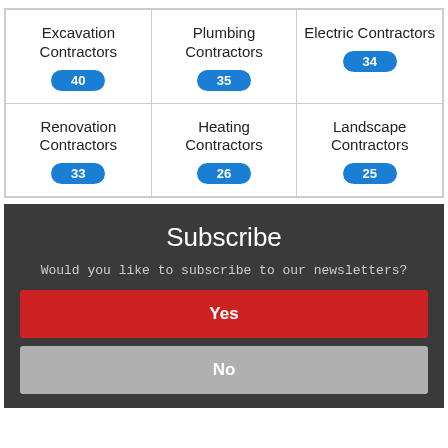| Excavation Contractors | Plumbing Contractors | Electric Contractors |
| --- | --- | --- |
| 40 | 35 | 34 |
| Renovation Contractors | Heating Contractors | Landscape Contractors |
| 33 | 26 | 25 |
Subscribe
Would you like to subscribe to our newsletters?
Yes
No